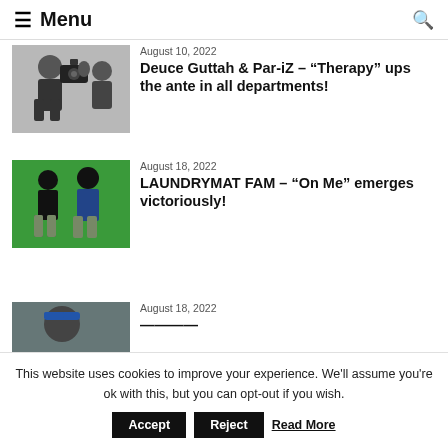Menu
[Figure (photo): Two people, one holding a camera, studio setting]
August 10, 2022
Deuce Guttah & Par-iZ – “Therapy” ups the ante in all departments!
[Figure (photo): Two people standing in front of a green screen background]
August 18, 2022
LAUNDRYMAT FAM – “On Me” emerges victoriously!
[Figure (photo): Partially visible photo, person wearing a cap]
August 18, 2022
This website uses cookies to improve your experience. We'll assume you're ok with this, but you can opt-out if you wish. Accept Reject Read More